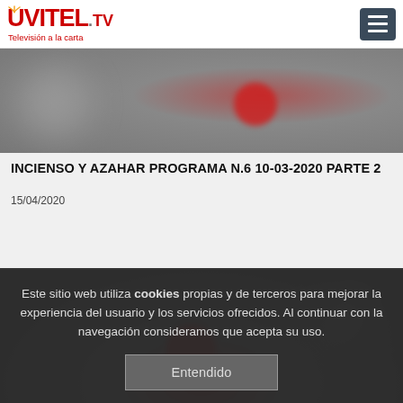UVITEL.TV — Televisión a la carta
[Figure (photo): Blurred thumbnail image with a dark/gray background and a red element, serving as content thumbnail for the article above]
INCIENSO Y AZAHAR PROGRAMA N.6 10-03-2020 PARTE 2
15/04/2020
[Figure (photo): Partially visible blurred thumbnail image with dark gray background and a red circular element, bottom of page]
Este sitio web utiliza cookies propias y de terceros para mejorar la experiencia del usuario y los servicios ofrecidos. Al continuar con la navegación consideramos que acepta su uso.
Entendido